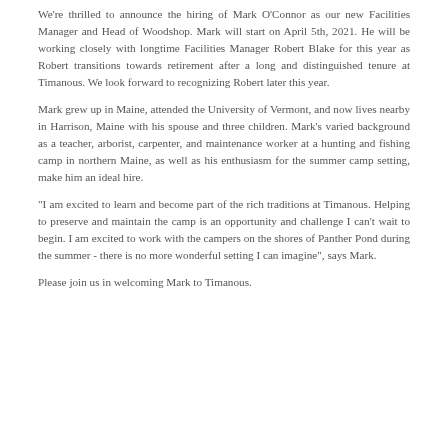We're thrilled to announce the hiring of Mark O'Connor as our new Facilities Manager and Head of Woodshop. Mark will start on April 5th, 2021. He will be working closely with longtime Facilities Manager Robert Blake for this year as Robert transitions towards retirement after a long and distinguished tenure at Timanous. We look forward to recognizing Robert later this year.
Mark grew up in Maine, attended the University of Vermont, and now lives nearby in Harrison, Maine with his spouse and three children. Mark's varied background as a teacher, arborist, carpenter, and maintenance worker at a hunting and fishing camp in northern Maine, as well as his enthusiasm for the summer camp setting, make him an ideal hire.
“I am excited to learn and become part of the rich traditions at Timanous. Helping to preserve and maintain the camp is an opportunity and challenge I can’t wait to begin. I am excited to work with the campers on the shores of Panther Pond during the summer - there is no more wonderful setting I can imagine”, says Mark.
Please join us in welcoming Mark to Timanous.